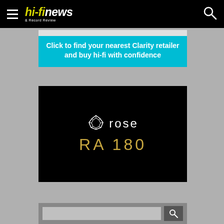hi-finews & Record Review
[Figure (screenshot): Cyan advertisement banner with white text: 'Click to find your nearest Clarity retailer and buy hi-fi with confidence']
[Figure (logo): Rose audio brand logo on black background showing a geometric rose icon, text 'rose' in white, and 'RA 180' in gold below]
[Figure (screenshot): Bottom search bar with grey background, search input field and search magnifying glass button]